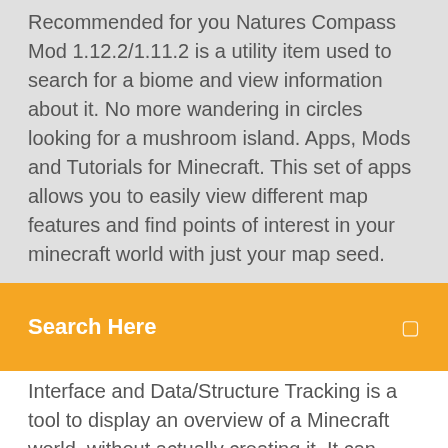Recommended for you Natures Compass Mod 1.12.2/1.11.2 is a utility item used to search for a biome and view information about it. No more wandering in circles looking for a mushroom island. Apps, Mods and Tutorials for Minecraft. This set of apps allows you to easily view different map features and find points of interest in your minecraft world with just your map seed.
Search Here
Interface and Data/Structure Tracking is a tool to display an overview of a Minecraft world, without actually creating it. It can render an overview of a world from a given seed and Minecraft version, save an image of the map, display biome information and numerous other structures I go over every single step of how you can download and install Biome O' Plenty in Minecraft 1.14.4. Biomes O' Plenty adds tons of different biomes into Minecraft 1.14.4 and is by far the best mod Biome Bundle is a world pack for Open Terrain Generator which must be downloaded separately here.. It is a completely custom world